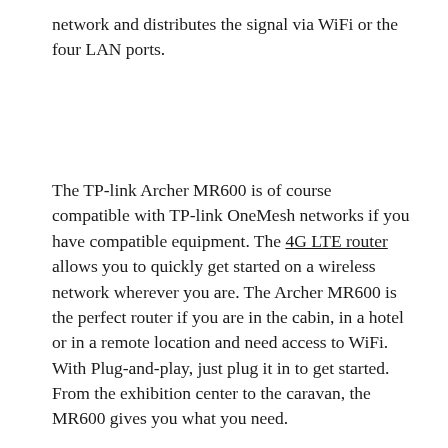network and distributes the signal via WiFi or the four LAN ports.
The TP-link Archer MR600 is of course compatible with TP-link OneMesh networks if you have compatible equipment. The 4G LTE router allows you to quickly get started on a wireless network wherever you are. The Archer MR600 is the perfect router if you are in the cabin, in a hotel or in a remote location and need access to WiFi. With Plug-and-play, just plug it in to get started. From the exhibition center to the caravan, the MR600 gives you what you need.